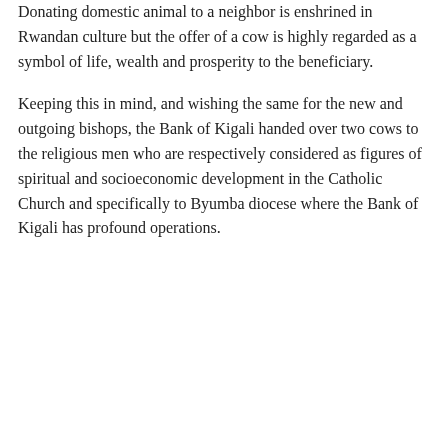Donating domestic animal to a neighbor is enshrined in Rwandan culture but the offer of a cow is highly regarded as a symbol of life, wealth and prosperity to the beneficiary.
Keeping this in mind, and wishing the same for the new and outgoing bishops, the Bank of Kigali handed over two cows to the religious men who are respectively considered as figures of spiritual and socioeconomic development in the Catholic Church and specifically to Byumba diocese where the Bank of Kigali has profound operations.